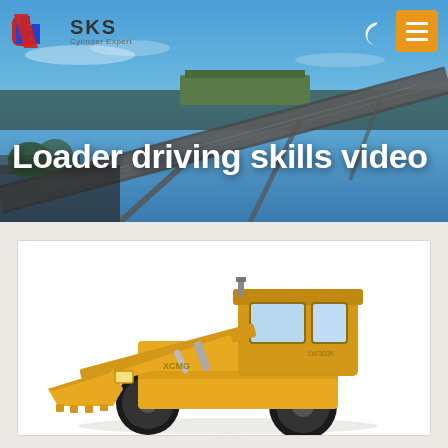[Figure (screenshot): SKS website header with red and blue logo mark, 'SKS' text in bold, 'Cylinder Expert' subtitle, a moon/dark-mode icon, and an orange hamburger menu button]
[Figure (photo): Hero banner photo showing industrial conveyor belt structure against a blue sky, with bold white text overlay reading 'Loader driving skills video']
Loader driving skills video
[Figure (photo): Yellow front loader (wheel loader) vehicle, model LW300K or similar, shown on white background in a white card panel]